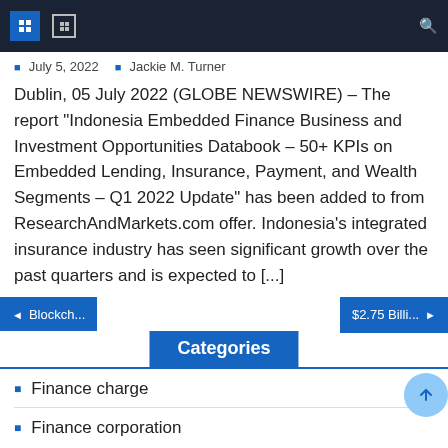Navigation bar with icons
July 5, 2022   Jackie M. Turner
Dublin, 05 July 2022 (GLOBE NEWSWIRE) – The report "Indonesia Embedded Finance Business and Investment Opportunities Databook – 50+ KPIs on Embedded Lending, Insurance, Payment, and Wealth Segments – Q1 2022 Update" has been added to from ResearchAndMarkets.com offer. Indonesia's integrated insurance industry has seen significant growth over the past quarters and is expected to [...]
Blockch...
$2.75 Billi...
Categories
Finance charge
Finance corporation